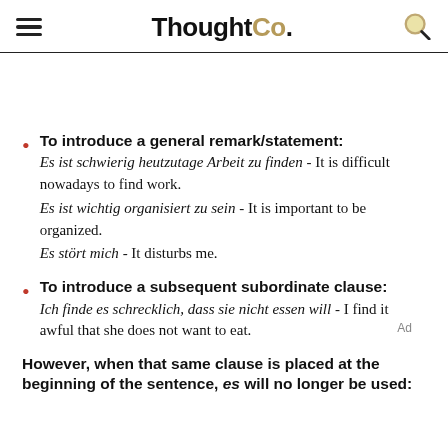ThoughtCo.
To introduce a general remark/statement: Es ist schwierig heutzutage Arbeit zu finden - It is difficult nowadays to find work. Es ist wichtig organisiert zu sein - It is important to be organized. Es stört mich - It disturbs me.
To introduce a subsequent subordinate clause: Ich finde es schrecklich, dass sie nicht essen will - I find it awful that she does not want to eat.
However, when that same clause is placed at the beginning of the sentence, es will no longer be used: